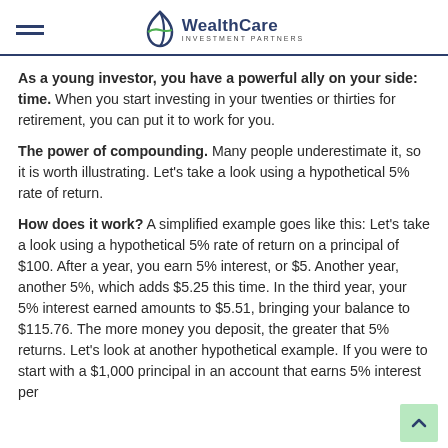WealthCare Investment Partners
As a young investor, you have a powerful ally on your side: time. When you start investing in your twenties or thirties for retirement, you can put it to work for you.
The power of compounding. Many people underestimate it, so it is worth illustrating. Let's take a look using a hypothetical 5% rate of return.
How does it work? A simplified example goes like this: Let's take a look using a hypothetical 5% rate of return on a principal of $100. After a year, you earn 5% interest, or $5. Another year, another 5%, which adds $5.25 this time. In the third year, your 5% interest earned amounts to $5.51, bringing your balance to $115.76. The more money you deposit, the greater that 5% returns. Let's look at another hypothetical example. If you were to start with a $1,000 principal in an account that earns 5% interest per